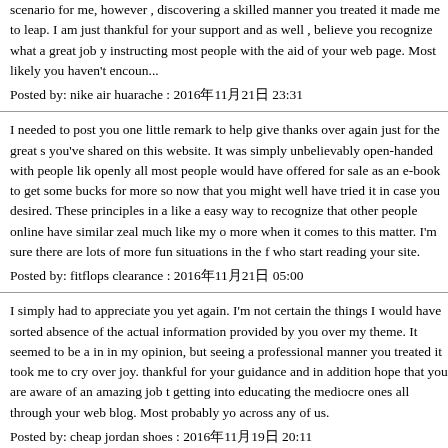scenario for me, however , discovering a skilled manner you treated it made me to leap. I am just thankful for your support and as well , believe you recognize what a great job you are instructing most people with the aid of your web page. Most likely you haven't encoun...
Posted by: nike air huarache : 2016年11月21日 23:31
I needed to post you one little remark to help give thanks over again just for the great strategies you've shared on this website. It was simply unbelievably open-handed with people like you to give openly all most people would have offered for sale as an e-book to get some bucks for themselves, more so now that you might well have tried it in case you desired. These principles in addition served like a easy way to recognize that other people online have similar zeal much like my own to learn more when it comes to this matter. I'm sure there are lots of more fun situations in the future for those who start reading your site.
Posted by: fitflops clearance : 2016年11月21日 05:00
I simply had to appreciate you yet again. I'm not certain the things I would have sorted out in the absence of the actual information provided by you over my theme. It seemed to be a intimidating issue in my opinion, but seeing a professional manner you treated it took me to cry over joy. I'm just thankful for your guidance and in addition hope that you are aware of an amazing job that you are getting into educating the mediocre ones all through your web blog. Most probably you haven't come across any of us.
Posted by: cheap jordan shoes : 2016年11月19日 20:11
I wish to express my appreciation to the writer just for bailing me out of such a condition...